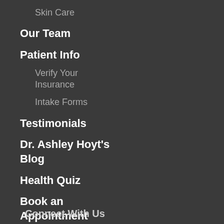Skin Care
Our Team
Patient Info
Verify Your Insurance
Intake Forms
Testimonials
Dr. Ashley Hoyt's Blog
Health Quiz
Book an Appointment
Contact Us
Connect With Us